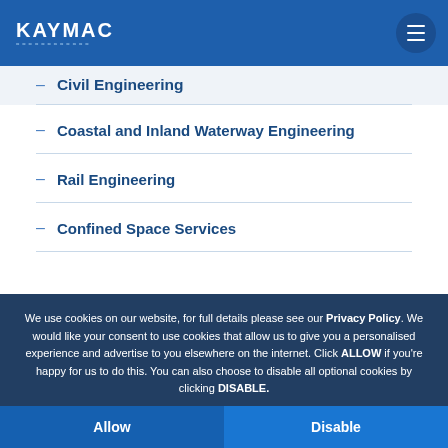KAYMAC
Civil Engineering
Coastal and Inland Waterway Engineering
Rail Engineering
Confined Space Services
We use cookies on our website, for full details please see our Privacy Policy. We would like your consent to use cookies that allow us to give you a personalised experience and advertise to you elsewhere on the internet. Click ALLOW if you're happy for us to do this. You can also choose to disable all optional cookies by clicking DISABLE.